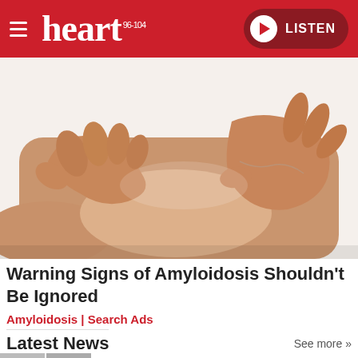heart 96-104 | LISTEN
[Figure (photo): Close-up photo of hands squeezing/pressing on a person's lower leg and ankle area, suggesting examination of swelling, on a white background.]
Warning Signs of Amyloidosis Shouldn't Be Ignored
Amyloidosis | Search Ads
Latest News
See more >>
[Figure (photo): Small thumbnail images at the bottom of the page showing news article previews.]